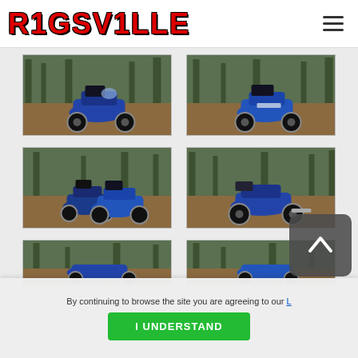RIGSVILLE — navigation header with hamburger menu
[Figure (photo): Blue sport-touring motorcycle with top box, front-left angle, outdoor woodland setting]
[Figure (photo): Blue sport-touring motorcycle with top box, right-rear angle, outdoor woodland setting]
[Figure (photo): Two blue sport-touring motorcycles parked side by side, outdoor woodland setting]
[Figure (photo): Blue sport-touring motorcycle with top box, right side view, outdoor woodland setting]
[Figure (photo): Partial view of blue motorcycle, bottom of page, outdoor woodland setting]
[Figure (photo): Partial view of blue motorcycle, bottom right, outdoor woodland setting]
By continuing to browse the site you are agreeing to our L...